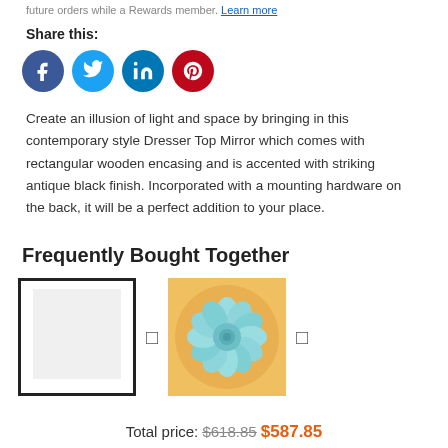future orders while a Rewards member. Learn more
Share this:
[Figure (infographic): Four social media icons: Facebook (blue circle), Twitter (light blue circle), LinkedIn (blue circle), Pinterest (red circle)]
Create an illusion of light and space by bringing in this contemporary style Dresser Top Mirror which comes with rectangular wooden encasing and is accented with striking antique black finish. Incorporated with a mounting hardware on the back, it will be a perfect addition to your place.
Frequently Bought Together
[Figure (photo): Two product images side by side: a rectangular mirror with black frame on the left, and a floral canvas art with blue succulent on orange/yellow background on the right, separated by a plus sign and followed by an arrow.]
Total price: $618.85 $587.85